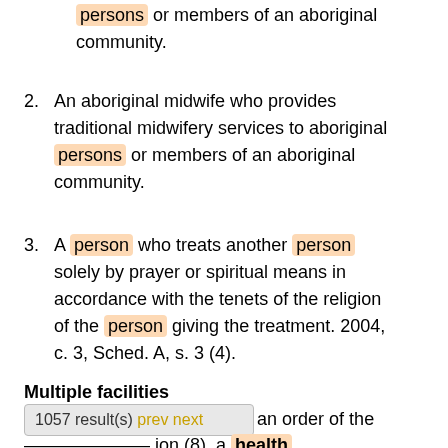persons or members of an aboriginal community.
2. An aboriginal midwife who provides traditional midwifery services to aboriginal persons or members of an aboriginal community.
3. A person who treats another person solely by prayer or spiritual means in accordance with the tenets of the religion of the person giving the treatment. 2004, c. 3, Sched. A, s. 3 (4).
Multiple facilities
on (6) or an order of the
1057 result(s) prev next
ion (8), a health
information...